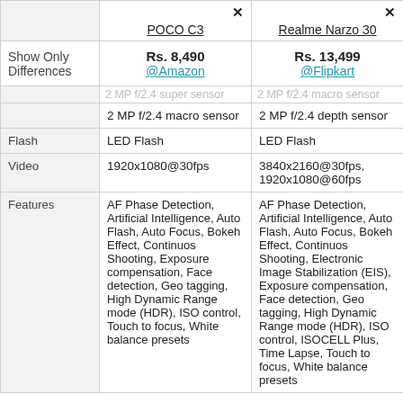|  | POCO C3 | Realme Narzo 30 |
| --- | --- | --- |
| Show Only Differences | Rs. 8,490
@Amazon | Rs. 13,499
@Flipkart |
|  | 2 MP f/2.4 macro sensor | 2 MP f/2.4 depth sensor |
| Flash | LED Flash | LED Flash |
| Video | 1920x1080@30fps | 3840x2160@30fps, 1920x1080@60fps |
| Features | AF Phase Detection, Artificial Intelligence, Auto Flash, Auto Focus, Bokeh Effect, Continuos Shooting, Exposure compensation, Face detection, Geo tagging, High Dynamic Range mode (HDR), ISO control, Touch to focus, White balance presets | AF Phase Detection, Artificial Intelligence, Auto Flash, Auto Focus, Bokeh Effect, Continuos Shooting, Electronic Image Stabilization (EIS), Exposure compensation, Face detection, Geo tagging, High Dynamic Range mode (HDR), ISO control, ISOCELL Plus, Time Lapse, Touch to focus, White balance presets |